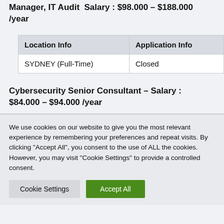Manager, IT Audit – Salary : $98.000 – $188.000 /year
| Location Info | Application Info |
| --- | --- |
| SYDNEY (Full-Time) | Closed |
Cybersecurity Senior Consultant – Salary : $84.000 – $94.000 /year
We use cookies on our website to give you the most relevant experience by remembering your preferences and repeat visits. By clicking "Accept All", you consent to the use of ALL the cookies. However, you may visit "Cookie Settings" to provide a controlled consent.